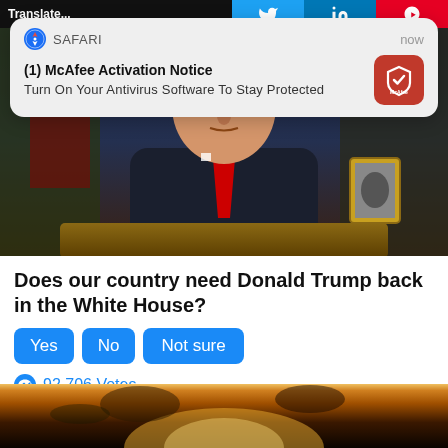[Figure (screenshot): Safari browser notification popup for McAfee Activation Notice]
[Figure (photo): Man in dark suit with red tie seated at desk with American flag in background]
Does our country need Donald Trump back in the White House?
[Figure (infographic): Poll buttons: Yes, No, Not sure with vote count 92,706 Votes]
[Figure (photo): Fire/explosion in dark sky at bottom of page]